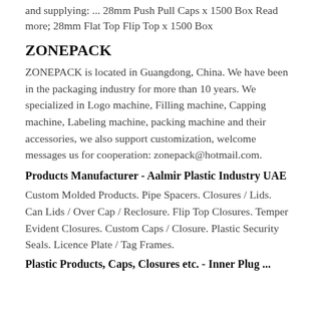and supplying: ... 28mm Push Pull Caps x 1500 Box Read more; 28mm Flat Top Flip Top x 1500 Box
ZONEPACK
ZONEPACK is located in Guangdong, China. We have been in the packaging industry for more than 10 years. We specialized in Logo machine, Filling machine, Capping machine, Labeling machine, packing machine and their accessories, we also support customization, welcome messages us for cooperation: zonepack@hotmail.com.
Products Manufacturer - Aalmir Plastic Industry UAE
Custom Molded Products. Pipe Spacers. Closures / Lids. Can Lids / Over Cap / Reclosure. Flip Top Closures. Temper Evident Closures. Custom Caps / Closure. Plastic Security Seals. Licence Plate / Tag Frames.
Plastic Products, Caps, Closures etc. - Inner Plug ...